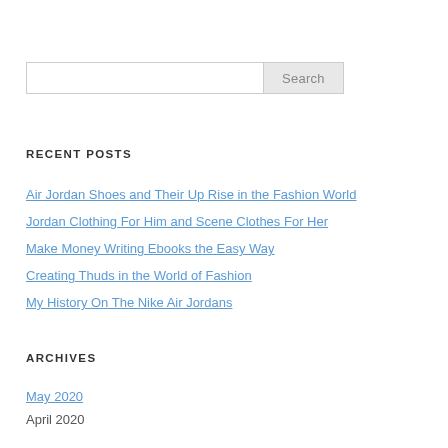[Figure (screenshot): Search input box with Search button]
RECENT POSTS
Air Jordan Shoes and Their Up Rise in the Fashion World
Jordan Clothing For Him and Scene Clothes For Her
Make Money Writing Ebooks the Easy Way
Creating Thuds in the World of Fashion
My History On The Nike Air Jordans
ARCHIVES
May 2020
April 2020